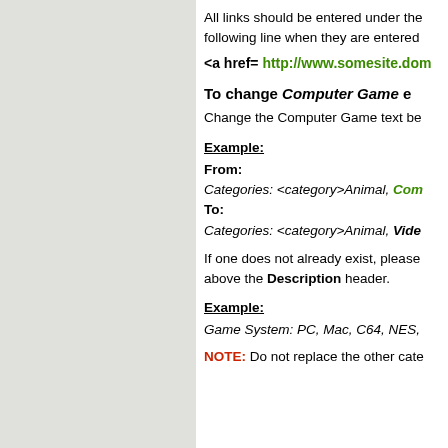All links should be entered under the following line when they are entered
<a href= http://www.somesite.dom
To change Computer Game e
Change the Computer Game text be
Example:
From:
Categories: <category>Animal, Com
To:
Categories: <category>Animal, Vide
If one does not already exist, please above the Description header.
Example:
Game System: PC, Mac, C64, NES,
NOTE: Do not replace the other cate